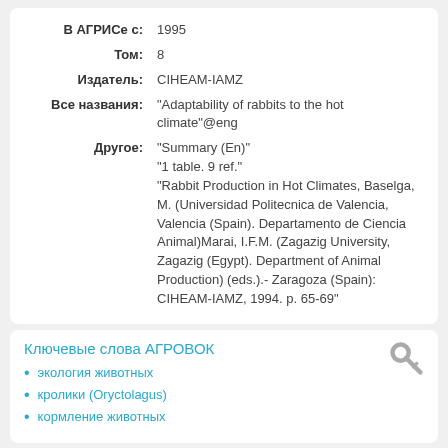| Поле | Значение |
| --- | --- |
| В АГРИСе с: | 1995 |
| Том: | 8 |
| Издатель: | CIHEAM-IAMZ |
| Все названия: | "Adaptability of rabbits to the hot climate"@eng |
| Другое: | "Summary (En)"
"1 table. 9 ref."
"Rabbit Production in Hot Climates, Baselga, M. (Universidad Politecnica de Valencia, Valencia (Spain). Departamento de Ciencia Animal)Marai, I.F.M. (Zagazig University, Zagazig (Egypt). Department of Animal Production) (eds.).- Zaragoza (Spain): CIHEAM-IAMZ, 1994. p. 65-69" |
Ключевые слова АГРОВОК
экология животных
кролики (Oryctolagus)
кормление животных